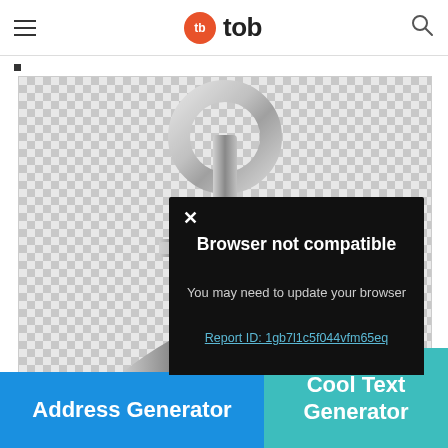tb tob
[Figure (screenshot): Website screenshot showing a 'tb tob' logo site with an anchor image on a checkered background, a browser-not-compatible modal dialog, and two navigation buttons at the bottom.]
Browser not compatible
You may need to update your browser
Report ID: 1gb7l1c5f044vfm65eq
Powered by GliaStudio
Address Generator
Cool Text Generator